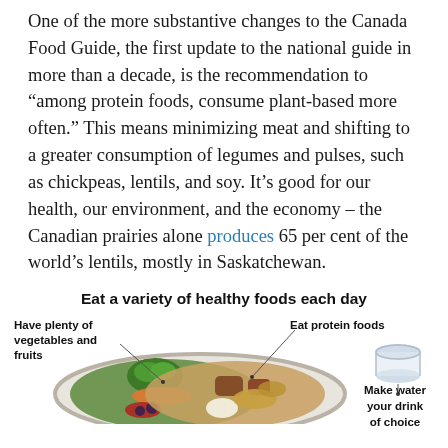One of the more substantive changes to the Canada Food Guide, the first update to the national guide in more than a decade, is the recommendation to “among protein foods, consume plant-based more often.” This means minimizing meat and shifting to a greater consumption of legumes and pulses, such as chickpeas, lentils, and soy. It’s good for our health, our environment, and the economy – the Canadian prairies alone produces 65 per cent of the world’s lentils, mostly in Saskatchewan.
[Figure (infographic): Canada Food Guide infographic showing a plate filled with vegetables, fruits, and protein foods. Title reads 'Eat a variety of healthy foods each day'. Labels point to sections: 'Have plenty of vegetables and fruits', 'Eat protein foods', and a glass with label 'Make water your drink of choice'.]